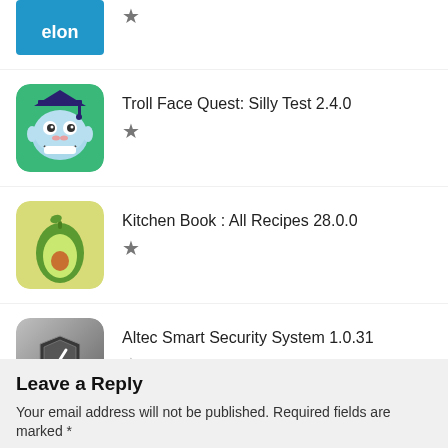[Figure (screenshot): Partial app icon with blue background showing 'elon' text]
★
[Figure (screenshot): Troll Face Quest: Silly Test app icon - cartoon troll face with graduation cap on green background]
Troll Face Quest: Silly Test 2.4.0
★
[Figure (screenshot): Kitchen Book: All Recipes app icon - avocado on yellow-green background]
Kitchen Book : All Recipes 28.0.0
★
[Figure (screenshot): Altec Smart Security System app icon - shield with arrow on grey gradient background]
Altec Smart Security System 1.0.31
★
Leave a Reply
Your email address will not be published. Required fields are marked *